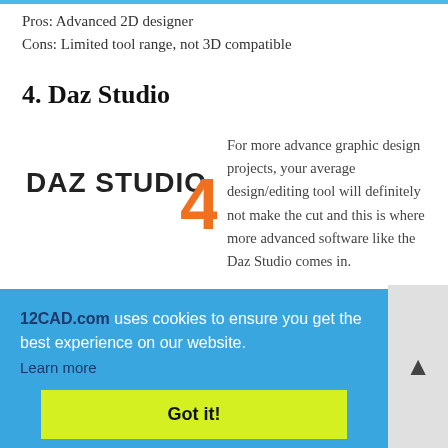Pros: Advanced 2D designer
Cons: Limited tool range, not 3D compatible
4. Daz Studio
[Figure (logo): DAZ STUDIO 4 logo — dark grey text with orange number 4]
For more advance graphic design projects, your average design/editing tool will definitely not make the cut and this is where more advanced software like the Daz Studio comes in.
The software allows the user to design 2D/3D models on its workspace by either customizing images uploaded on it or by starting from scratch. With Daz Studio, a beginner can learn the steps to designing 2D/3D characters, virtual environments, as well as handle rendering.
Platform: Windows, Mac
Cost: $249
uses cookies to ensure you get the best experience on our website.
Learn more
Got it!
Pros: Handles 3D design, Affordable software package